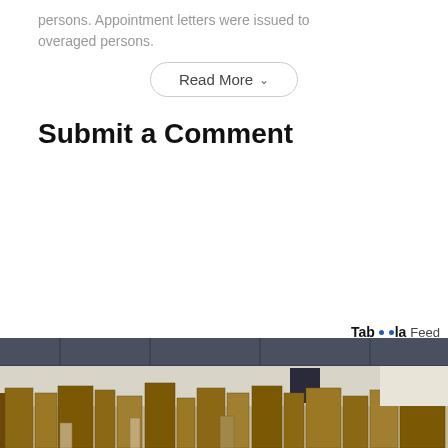persons. Appointment letters were issued to overaged persons.
Read More
Submit a Comment
[Figure (other): Taboola Feed logo with text 'Taboola Feed']
[Figure (photo): Warehouse interior filled with wooden furniture boxes and crates stacked on the floor]